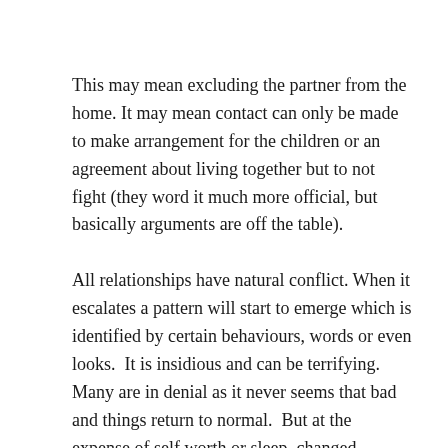This may mean excluding the partner from the home. It may mean contact can only be made to make arrangement for the children or an agreement about living together but to not fight (they word it much more official, but basically arguments are off the table).
All relationships have natural conflict. When it escalates a pattern will start to emerge which is identified by certain behaviours, words or even looks.  It is insidious and can be terrifying.   Many are in denial as it never seems that bad and things return to normal.  But at the expense of self worth or sleep, changed behaviour is the only apology you should be accepting.
Before heading to the courts or police, victims usually